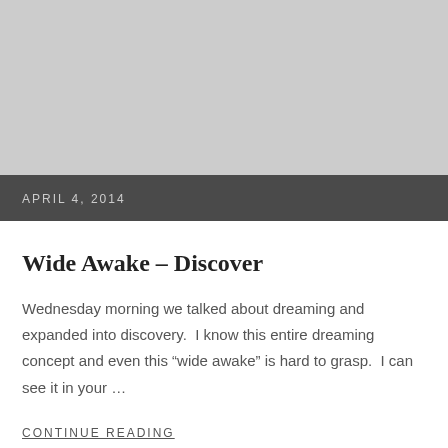[Figure (photo): Gray placeholder image area at top of page]
APRIL 4, 2014
Wide Awake – Discover
Wednesday morning we talked about dreaming and expanded into discovery.  I know this entire dreaming concept and even this “wide awake” is hard to grasp.  I can see it in your …
CONTINUE READING